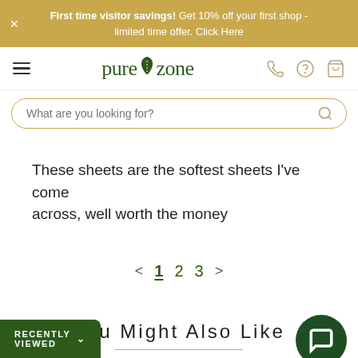First time visitor savings! Get 10% off your first shop - limited time offer. Click Here
[Figure (logo): PureZone logo with leaf icon, navigation hamburger menu, phone icon, help icon, and cart icon]
[Figure (screenshot): Search bar with placeholder text 'What are you looking for?' and search icon]
These sheets are the softest sheets I've come across, well worth the money
< 1 2 3 >
You Might Also Like